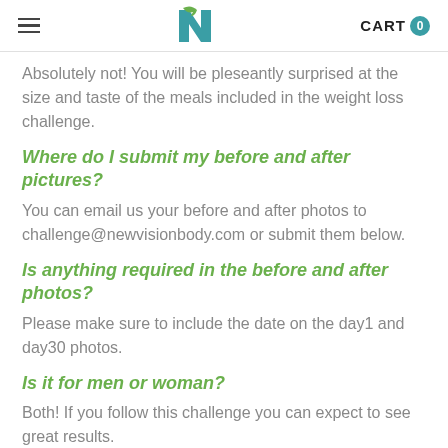CART 0
Absolutely not! You will be pleseantly surprised at the size and taste of the meals included in the weight loss challenge.
Where do I submit my before and after pictures?
You can email us your before and after photos to challenge@newvisionbody.com or submit them below.
Is anything required in the before and after photos?
Please make sure to include the date on the day1 and day30 photos.
Is it for men or woman?
Both! If you follow this challenge you can expect to see great results.